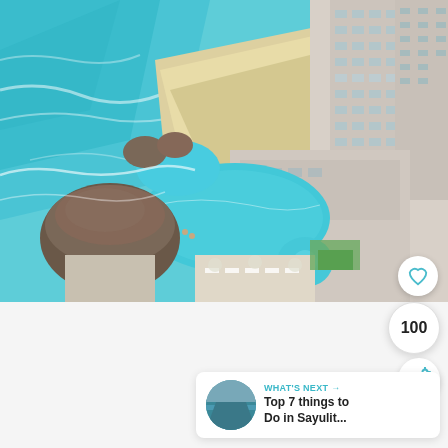[Figure (photo): Aerial view of a beach resort in Cancun, Mexico, showing turquoise ocean water, sandy beach, large hotel buildings on the right, swimming pools, thatched palapa huts, and lounge areas in the center]
100
[Figure (other): Share icon button (circular white button with share/forward arrow icon)]
WHAT'S NEXT → Top 7 things to Do in Sayulit...